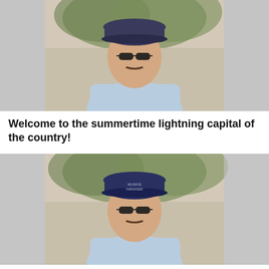[Figure (photo): Portrait photo of a middle-aged man wearing sunglasses and a dark cap, light blue shirt, outdoors with green foliage in background. Photo is centered with blurred/grey sides.]
Welcome to the summertime lightning capital of the country!
[Figure (photo): Portrait photo of the same man wearing sunglasses and a dark navy cap with 'Muskie Haranser' text, light blue shirt, outdoors with green foliage. Photo is centered with blurred/grey sides.]
Nighttime can be prime time for fishing action